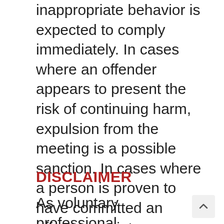inappropriate behavior is expected to comply immediately. In cases where an offender appears to present the risk of continuing harm, expulsion from the meeting is a possible sanction. In cases where a person is proven to have committed an offense, society membership and honors may be revoked.
DISCLAIMER
As voluntary professional organizations with small staff and volunteers and limited...